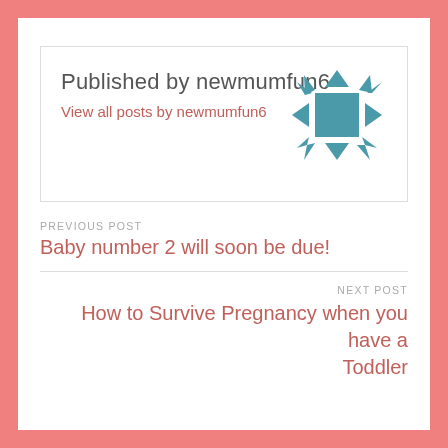Published by newmumfun6
View all posts by newmumfun6
[Figure (logo): Circular geometric logo made of teal/blue triangles and squares arranged in a decorative pattern]
PREVIOUS POST
Baby number 2 will soon be due!
NEXT POST
How to Survive Pregnancy when you have a Toddler